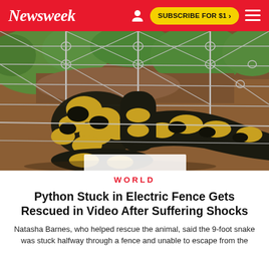Newsweek | SUBSCRIBE FOR $1 >
[Figure (photo): A large python with black and yellow patterned scales is stuck through a wire electric fence on brown dirt ground with green grass visible in background.]
WORLD
Python Stuck in Electric Fence Gets Rescued in Video After Suffering Shocks
Natasha Barnes, who helped rescue the animal, said the 9-foot snake was stuck halfway through a fence and unable to escape from the